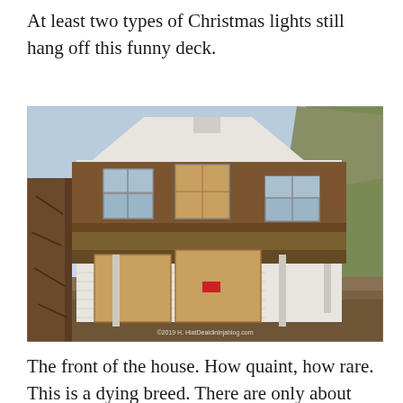At least two types of Christmas lights still hang off this funny deck.
[Figure (photo): A boarded-up, abandoned two-story white house with a covered front porch. Windows are boarded with plywood. A large tree trunk is visible in the foreground on the left. Evergreen trees surround the property. A watermark reads '©2019 H. HiatDealdininjablog.com'.]
The front of the house. How quaint, how rare. This is a dying breed. There are only about 73,000 Americans who